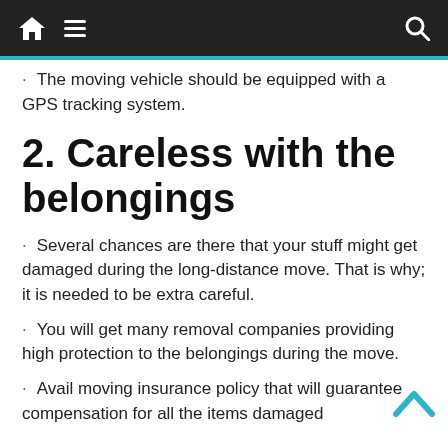Navigation bar with home, menu, and search icons
The moving vehicle should be equipped with a GPS tracking system.
2. Careless with the belongings
Several chances are there that your stuff might get damaged during the long-distance move. That is why; it is needed to be extra careful.
You will get many removal companies providing high protection to the belongings during the move.
Avail moving insurance policy that will guarantee compensation for all the items damaged